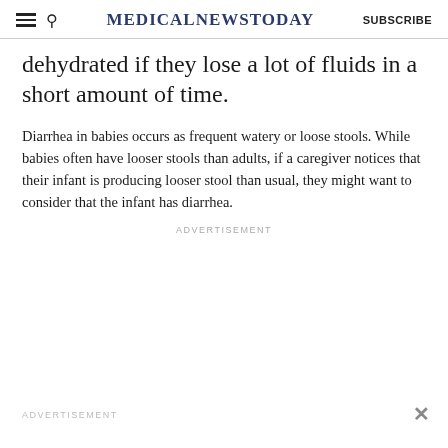MedicalNewsToday  SUBSCRIBE
dehydrated if they lose a lot of fluids in a short amount of time.
Diarrhea in babies occurs as frequent watery or loose stools. While babies often have looser stools than adults, if a caregiver notices that their infant is producing looser stool than usual, they might want to consider that the infant has diarrhea.
ADVERTISEMENT
ADVERTISEMENT